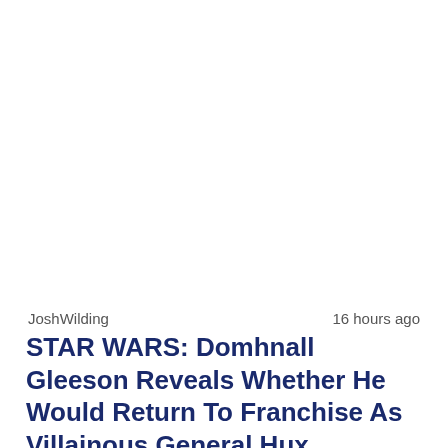JoshWilding    16 hours ago
STAR WARS: Domhnall Gleeson Reveals Whether He Would Return To Franchise As Villainous General Hux